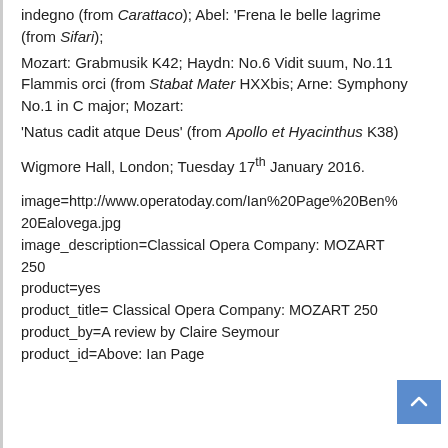indegno (from Carattaco); Abel: 'Frena le belle lagrime (from Sifari); Mozart: Grabmusik K42; Haydn: No.6 Vidit suum, No.11 Flammis orci (from Stabat Mater HXXbis; Arne: Symphony No.1 in C major; Mozart: 'Natus cadit atque Deus' (from Apollo et Hyacinthus K38)
Wigmore Hall, London; Tuesday 17th January 2016.
image=http://www.operatoday.com/Ian%20Page%20Ben%20Ealovega.jpg
image_description=Classical Opera Company: MOZART 250
product=yes
product_title= Classical Opera Company: MOZART 250
product_by=A review by Claire Seymour
product_id=Above: Ian Page